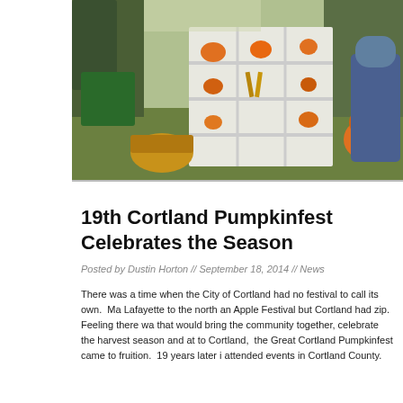[Figure (photo): Outdoor market scene with pumpkins displayed on white wooden shelving unit, baskets of produce, and people browsing at the Cortland Pumpkinfest]
19th Cortland Pumpkinfest Celebrates the Season
Posted by Dustin Horton  //  September 18, 2014  //  News
There was a time when the City of Cortland had no festival to call its own.  Ma Lafayette to the north an Apple Festival but Cortland had zip.  Feeling there wa that would bring the community together, celebrate the harvest season and at to Cortland,  the Great Cortland Pumpkinfest came to fruition.  19 years later i attended events in Cortland County.